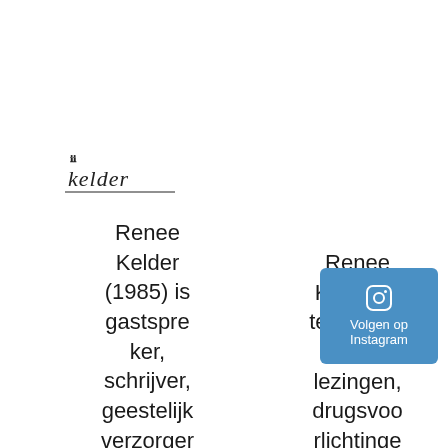[Figure (logo): Handwritten signature reading 'kelder' with a small logo mark above it and an underline]
Renee Kelder (1985) is gastspreker, schrijver, geestelijk verzorger en
Renee Kelder is te boeken voor lezingen, drugsvoorlichtinge n
[Figure (other): Blue button with Instagram camera icon and text 'Volgen op Instagram']